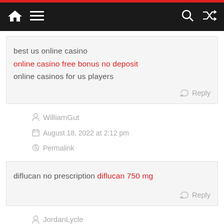Navigation bar with home, menu, search, and shuffle icons
best us online casino
online casino free bonus no deposit
online casinos for us players
Reply
WilliamGut
August 18, 2022 at 2:12 pm
Permalink
diflucan no prescription diflucan 750 mg
Reply
JordanLycle
August 19, 2022 at 8:06 am
Permalink